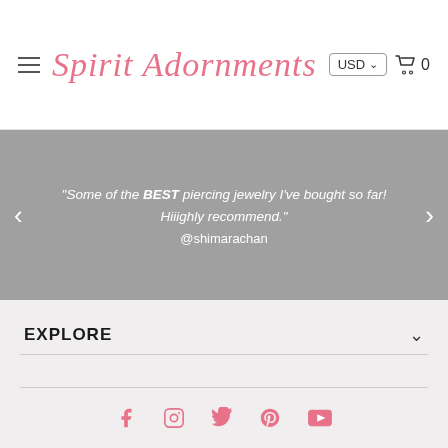Spirit Adornments — USD — Cart 0
"Some of the BEST piercing jewelry I've bought so far! Hiiighly recommend." @shimarachan
EXPLORE
CONNECT WITH US
[Figure (illustration): Social media icons: Facebook, Instagram, Twitter, Pinterest, YouTube in pink]